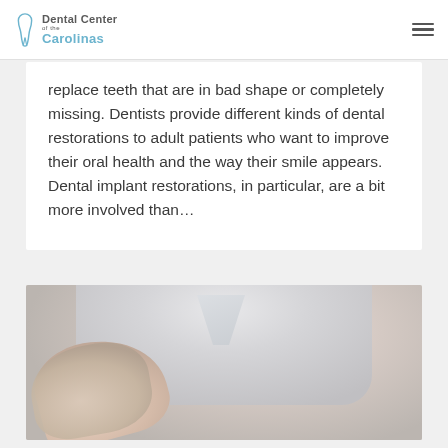Dental Center of the Carolinas
replace teeth that are in bad shape or completely missing. Dentists provide different kinds of dental restorations to adult patients who want to improve their oral health and the way their smile appears. Dental implant restorations, in particular, are a bit more involved than…
[Figure (photo): Close-up photo of a dental professional in a white coat/scrubs, with a gloved hand visible in the foreground, blurred background]